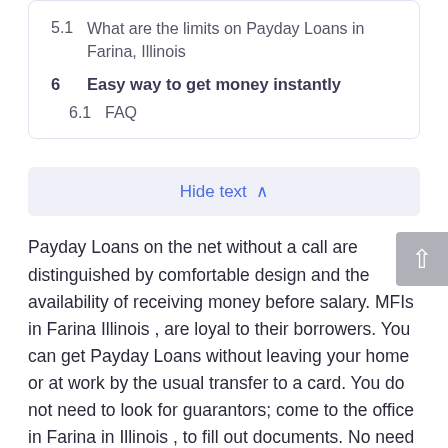5.1  What are the limits on Payday Loans in Farina, Illinois
6  Easy way to get money instantly
6.1  FAQ
Hide text ∧
Payday Loans on the net without a call are distinguished by comfortable design and the availability of receiving money before salary. MFIs in Farina Illinois , are loyal to their borrowers. You can get Payday Loans without leaving your home or at work by the usual transfer to a card. You do not need to look for guarantors; come to the office in Farina in Illinois , to fill out documents. No need to spend time requesting income certificates in accounting, or worry